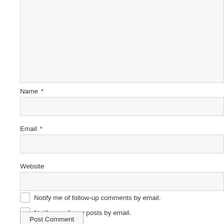[Figure (screenshot): Comment form with textarea (partially visible at top), Name field with red asterisk, Email field with red asterisk, Website field, two checkboxes for email notifications, and a Post Comment button.]
Name *
Email *
Website
Notify me of follow-up comments by email.
Notify me of new posts by email.
Post Comment